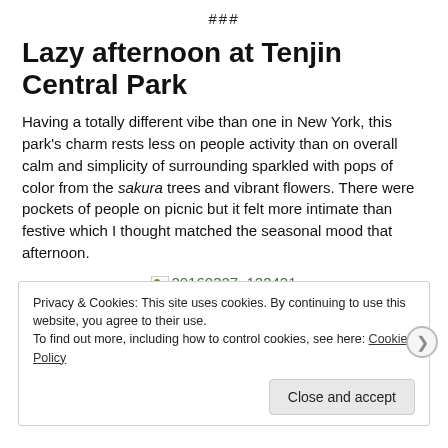###
Lazy afternoon at Tenjin Central Park
Having a totally different vibe than one in New York, this park’s charm rests less on people activity than on overall calm and simplicity of surrounding sparkled with pops of color from the sakura trees and vibrant flowers. There were pockets of people on picnic but it felt more intimate than festive which I thought matched the seasonal mood that afternoon.
[Figure (photo): Broken image placeholder with link text '20160327_122421' in green]
Privacy & Cookies: This site uses cookies. By continuing to use this website, you agree to their use. To find out more, including how to control cookies, see here: Cookie Policy